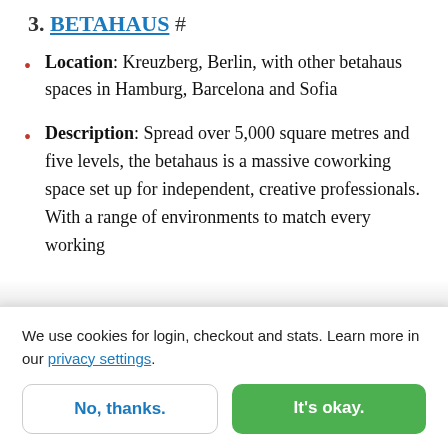3. BETAHAUS #
Location: Kreuzberg, Berlin, with other betahaus spaces in Hamburg, Barcelona and Sofia
Description: Spread over 5,000 square metres and five levels, the betahaus is a massive coworking space set up for independent, creative professionals. With a range of environments to match every working
We use cookies for login, checkout and stats. Learn more in our privacy settings.